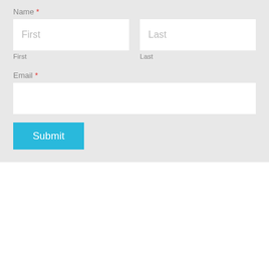Name *
First
Last
First
Last
Email *
Submit